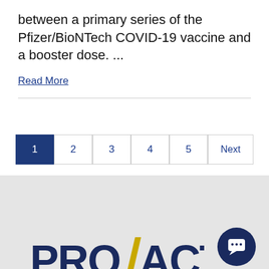between a primary series of the Pfizer/BioNTech COVID-19 vaccine and a booster dose. ...
Read More
1
2
3
4
5
Next
[Figure (logo): PRO/ACT logo with yellow slash mark, on light gray footer background. A dark navy circular chat bubble icon is on the right side.]